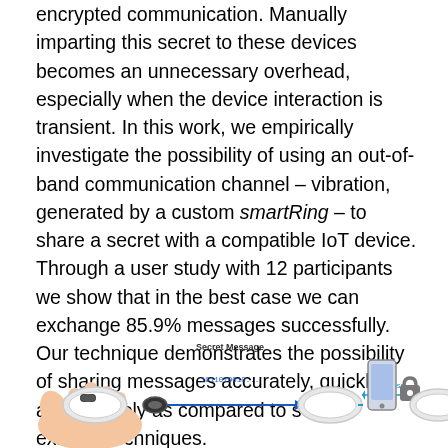encrypted communication. Manually imparting this secret to these devices becomes an unnecessary overhead, especially when the device interaction is transient. In this work, we empirically investigate the possibility of using an out-of-band communication channel – vibration, generated by a custom smartRing – to share a secret with a compatible IoT device. Through a user study with 12 participants we show that in the best case we can exchange 85.9% messages successfully. Our technique demonstrates the possibility of sharing messages accurately, quickly, and securely as compared to several existing techniques.
To learn more, check out the video presentation here.
[Figure (illustration): Diagram showing a hand holding a smartRing device, then a ring transmitting a secret message (binary 1011010010...) via vibration to a white oval IoT device, which then wirelessly communicates with a smartphone, connected to a lock symbol and another white oval device.]